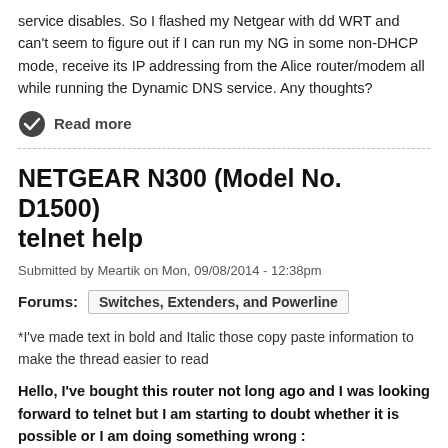service disables. So I flashed my Netgear with dd WRT and can't seem to figure out if I can run my NG in some non-DHCP mode, receive its IP addressing from the Alice router/modem all while running the Dynamic DNS service. Any thoughts?
Read more
NETGEAR N300 (Model No. D1500) telnet help
Submitted by Meartik on Mon, 09/08/2014 - 12:38pm
Forums: Switches, Extenders, and Powerline
*I've made text in bold and Italic those copy paste information to make the thread easier to read
Hello, I've bought this router not long ago and I was looking forward to telnet but I am starting to doubt whether it is possible or I am doing something wrong :